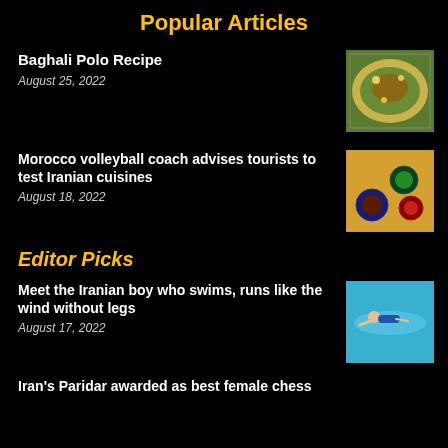Popular Articles
Baghali Polo Recipe
August 25, 2022
[Figure (photo): Photo of Baghali Polo dish - rice with herbs and meat]
Morocco volleyball coach advises tourists to test Iranian cuisines
August 18, 2022
[Figure (photo): Photo of Iranian cuisine - various dishes and spices in bowls]
Editor Picks
Meet the Iranian boy who swims, runs like the wind without legs
August 17, 2022
[Figure (photo): Photo of boy swimming underwater in a pool]
Iran's Paridar awarded as best female chess